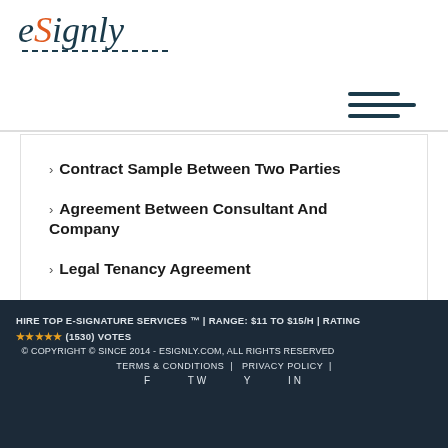[Figure (logo): eSignly logo: stylized cursive text with orange 'S' and teal/dark blue lettering, with dashed underline]
Contract Sample Between Two Parties
Agreement Between Consultant And Company
Legal Tenancy Agreement
HIRE TOP E-SIGNATURE SERVICES ™ | RANGE: $11 TO $15/H | RATING ★★★★★ (1530) VOTES
© COPYRIGHT © SINCE 2014 - ESIGNLY.COM, ALL RIGHTS RESERVED
TERMS & CONDITIONS | PRIVACY POLICY |
F  TW  Y  IN